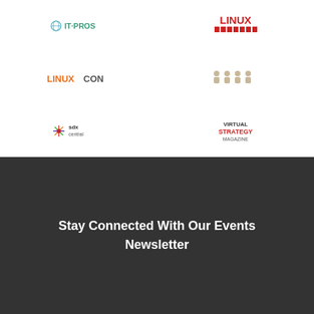[Figure (logo): IT Pros logo - small globe icon with green text 'IT PROS']
[Figure (logo): Linux Magazine logo - red bold stacked text 'LINUX MAGAZINE']
[Figure (logo): LinuxCon logo - orange text 'LINUXCON']
[Figure (logo): Group of people silhouette icons logo - light brown]
[Figure (logo): SDxCentral logo - colorful star/burst icon with text]
[Figure (logo): Virtual Strategy Magazine logo - red and blue text 'VIRTUAL STRATEGY MAGAZINE']
Stay Connected With Our Events Newsletter